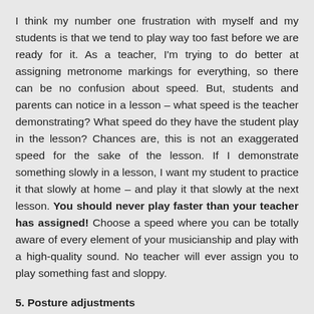I think my number one frustration with myself and my students is that we tend to play way too fast before we are ready for it. As a teacher, I'm trying to do better at assigning metronome markings for everything, so there can be no confusion about speed. But, students and parents can notice in a lesson – what speed is the teacher demonstrating? What speed do they have the student play in the lesson? Chances are, this is not an exaggerated speed for the sake of the lesson. If I demonstrate something slowly in a lesson, I want my student to practice it that slowly at home – and play it that slowly at the next lesson. You should never play faster than your teacher has assigned! Choose a speed where you can be totally aware of every element of your musicianship and play with a high-quality sound. No teacher will ever assign you to play something fast and sloppy.
5. Posture adjustments
Posture is crucial, because how easily and efficiently we move our body directly affects our sound. We can't sound beautiful